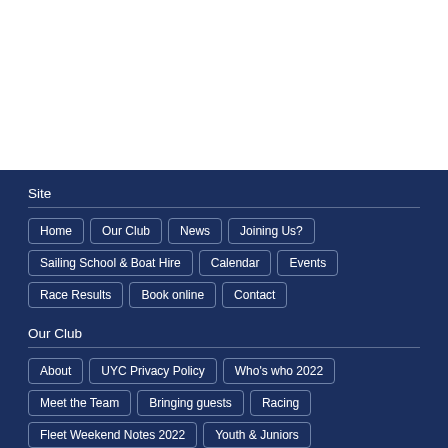Site
Home
Our Club
News
Joining Us?
Sailing School & Boat Hire
Calendar
Events
Race Results
Book online
Contact
Our Club
About
UYC Privacy Policy
Who's who 2022
Meet the Team
Bringing guests
Racing
Fleet Weekend Notes 2022
Youth & Juniors